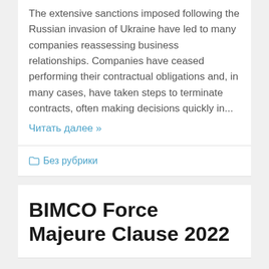The extensive sanctions imposed following the Russian invasion of Ukraine have led to many companies reassessing business relationships. Companies have ceased performing their contractual obligations and, in many cases, have taken steps to terminate contracts, often making decisions quickly in...
Читать далее »
Без рубрики
BIMCO Force Majeure Clause 2022